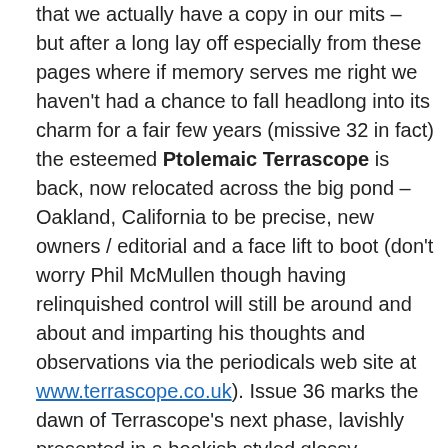that we actually have a copy in our mits – but after a long lay off especially from these pages where if memory serves me right we haven't had a chance to fall headlong into its charm for a fair few years (missive 32 in fact) the esteemed Ptolemaic Terrascope is back, now relocated across the big pond  – Oakland, California to be precise, new owners / editorial and a face lift to boot (don't worry Phil McMullen though having relinquished control will still be around and about and imparting his thoughts and observations via the periodicals web site at www.terrascope.co.uk). Issue 36 marks the dawn of Terrascope's next phase, lavishly presented in a bookish styled glossy magazine this eventful issue features interviews and spotlights with Vashti Bunyan, Davey Graham, Colleen and Sean Smith as well as being equipped with a rather nifty 20 track CD that includes cuts